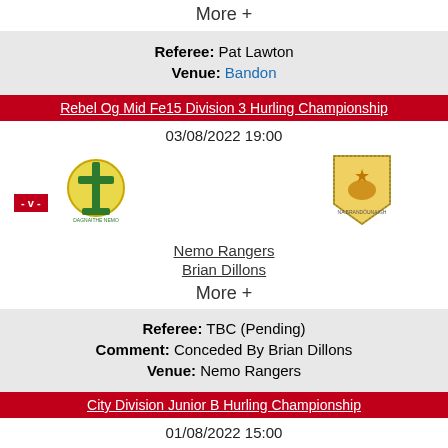More +
Referee: Pat Lawton
Venue: Bandon
Rebel Og Mid Fe15 Division 3 Hurling Championship
03/08/2022 19:00
[Figure (logo): Nemo Rangers club crest - green cross on yellow circle]
[Figure (logo): Brian Dillons club crest - gold shield with lion]
Nemo Rangers
Brian Dillons
More +
Referee: TBC (Pending)
Comment: Conceded By Brian Dillons
Venue: Nemo Rangers
City Division Junior B Hurling Championship
01/08/2022 15:00
[Figure (logo): Bottom left club crest - green]
[Figure (logo): Bottom right club crest - red shield]